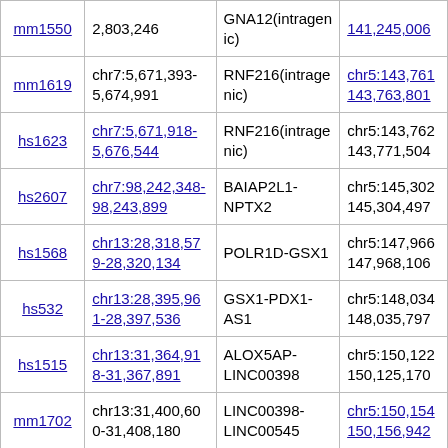| ID | Coordinates (query) | Gene | Coordinates (subject) |
| --- | --- | --- | --- |
| mm1550 | 2,803,246 | GNA12(intragenic) | 141,245,006 |
| mm1619 | chr7:5,671,393-5,674,991 | RNF216(intragenic) | chr5:143,761 143,763,801 |
| hs1623 | chr7:5,671,918-5,676,544 | RNF216(intragenic) | chr5:143,762 143,771,504 |
| hs2607 | chr7:98,242,348-98,243,899 | BAIAP2L1-NPTX2 | chr5:145,302 145,304,497 |
| hs1568 | chr13:28,318,579-28,320,134 | POLR1D-GSX1 | chr5:147,966 147,968,106 |
| hs532 | chr13:28,395,961-28,397,536 | GSX1-PDX1-AS1 | chr5:148,034 148,035,797 |
| hs1515 | chr13:31,364,918-31,367,891 | ALOX5AP-LINC00398 | chr5:150,122 150,125,170 |
| mm1702 | chr13:31,400,600-31,408,180 | LINC00398-LINC00545 | chr5:150,154 150,156,942 |
| mm801 | chr7:92,874,953-92,879,218 | CCDC132(intragenic) | chr6:3,459,8 3,464,285 |